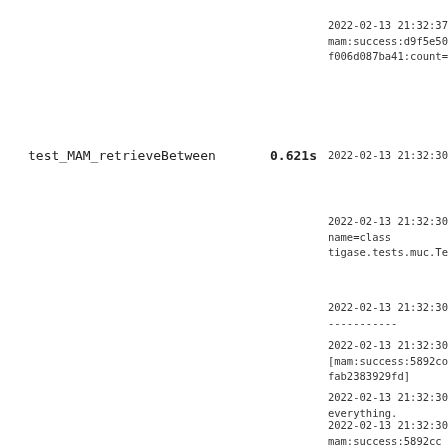2022-02-13 21:32:37
mam:success:d9f5e50
f006d087ba41:count=
test_MAM_retrieveBetween
0.621s
2022-02-13 21:32:30
2022-02-13 21:32:30
name=class
tigase.tests.muc.Te
2022-02-13 21:32:30
-----------
2022-02-13 21:32:30
[mam:success:5892co
fab2383929fd]
2022-02-13 21:32:30
everything.
2022-02-13 21:32:30
mam:success:5892cc
fab2383929fd:count=